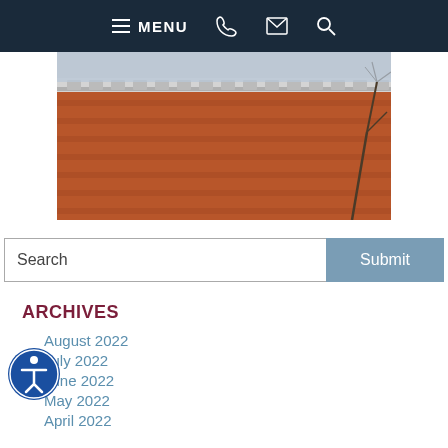MENU
[Figure (photo): Exterior photo of a brick building with architectural molding and bare winter trees]
Search
ARCHIVES
August 2022
July 2022
June 2022
May 2022
April 2022
CATEGORIES
Assault And Battery
Auto Accident
Bankruptcy